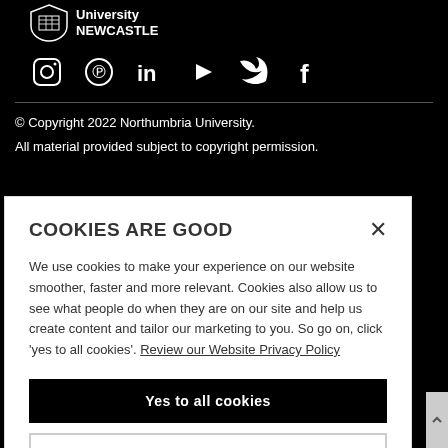[Figure (logo): Northumbria University Newcastle shield logo with text 'University NEWCASTLE']
[Figure (infographic): Social media icons row: Instagram, Pinterest, LinkedIn, YouTube, Twitter, Facebook — white on black background]
© Copyright 2022 Northumbria University.
All material provided subject to copyright permission.
COOKIES ARE GOOD
We use cookies to make your experience on our website smoother, faster and more relevant. Cookies also allow us to see what people do when they are on our site and help us create content and tailor our marketing to you. So go on, click 'yes to all cookies'. Review our Website Privacy Policy
Yes to all cookies